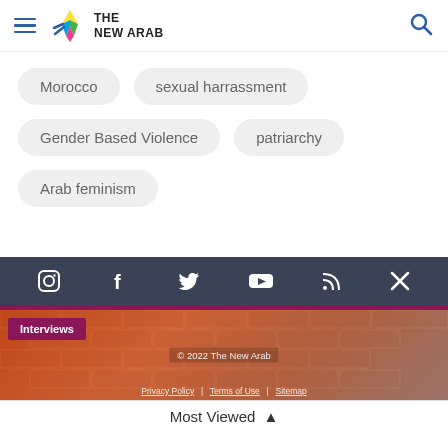The New Arab
Morocco
sexual harrassment
Gender Based Violence
patriarchy
Arab feminism
[Figure (screenshot): Social media icons: Instagram, Facebook, Twitter, YouTube, RSS, X on dark background]
[Figure (photo): Article image with Interviews badge, showing a person with orange hair, and a brick wall background. Watermark: © 2022 The New Arab. Privacy Policy | Terms of Use | Sitemap]
Most Viewed ▲